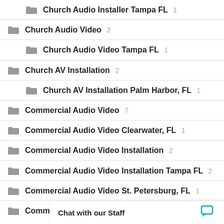Church Audio Installer Tampa FL 1
Church Audio Video 2
Church Audio Video Tampa FL 1
Church AV Installation 2
Church AV Installation Palm Harbor, FL 1
Commercial Audio Video 7
Commercial Audio Video Clearwater, FL 1
Commercial Audio Video Installation 2
Commercial Audio Video Installation Tampa FL 2
Commercial Audio Video St. Petersburg, FL 1
Commercial Audi...